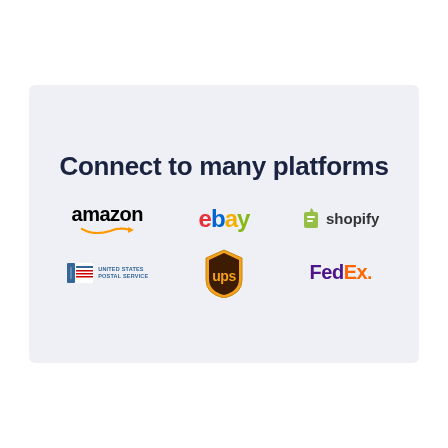[Figure (infographic): A light blue-grey card showing 'Connect to many platforms' heading with logos of Amazon, eBay, Shopify, USPS, UPS, and FedEx arranged in two rows of three.]